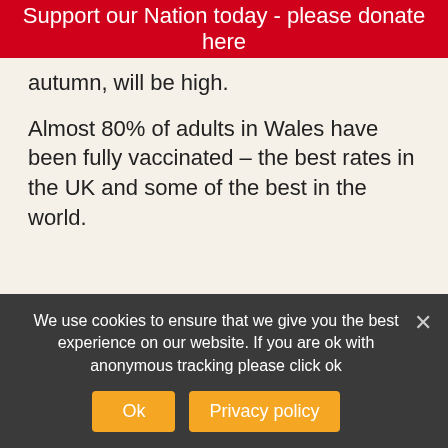Support our Nation today - please donate here
autumn, will be high.
Almost 80% of adults in Wales have been fully vaccinated – the best rates in the UK and some of the best in the world.
Deputy Chief Medical Officer for Vaccines Gill Richardson said: “This is the next stage of our successful vaccination programme and the first step towards delivering vaccines to children and young people. We will move quickly to vaccinate those aged 12-17 who fall into the categories outlined by the recent JCVI guidance on
We use cookies to ensure that we give you the best experience on our website. If you are ok with anonymous tracking please click ok
Ok
Privacy policy